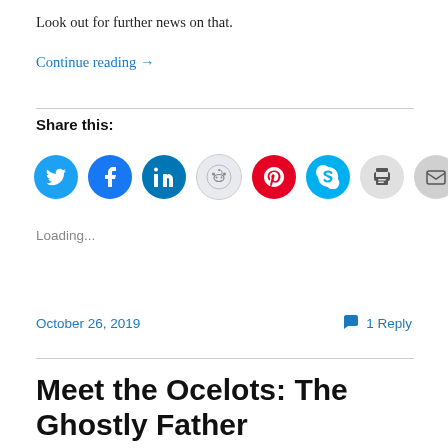Look out for further news on that.
Continue reading →
Share this:
[Figure (infographic): Row of social share icon circles: Twitter (blue), Facebook (blue), LinkedIn (dark blue), Reddit (light grey), Pinterest (red), Skype (cyan), Print (grey), Email (grey)]
Loading...
October 26, 2019
💬 1 Reply
Meet the Ocelots: The Ghostly Father